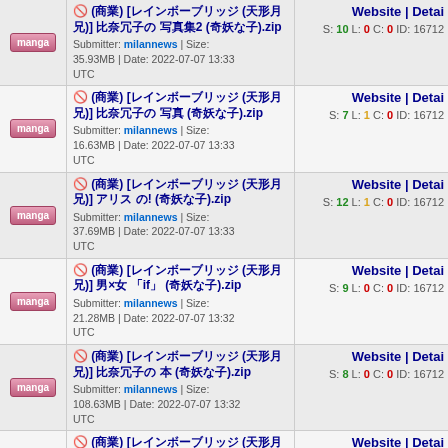(???) [???????????? (????)] ??????? ???2 (??????).zip Submitter: milannews | Size: 35.93MB | Date: 2022-07-07 13:33 UTC S: 10 L: 0 C: 0 ID: 16712x Website | Detail
(???) [???????????? (????)] ??????? ??? (??????).zip Submitter: milannews | Size: 16.63MB | Date: 2022-07-07 13:33 UTC S: 7 L: 1 C: 0 ID: 16712x Website | Detail
(???) [???????????? (????)] ?????? ??! (??????).zip Submitter: milannews | Size: 37.69MB | Date: 2022-07-07 13:33 UTC S: 12 L: 1 C: 0 ID: 16712x Website | Detail
(???) [???????????? (????)] ???x?? ?if? (??????).zip Submitter: milannews | Size: 21.28MB | Date: 2022-07-07 13:32 UTC S: 9 L: 0 C: 0 ID: 16712x Website | Detail
(???) [???????????? (????)] ??????? ?? (??????).zip Submitter: milannews | Size: 108.63MB | Date: 2022-07-07 13:32 UTC S: 8 L: 0 C: 0 ID: 16712x Website | Detail
(???) [???????????? (????)] ????? (??????).zip Submitter: milannews | Size: 37.85MB | Date: 2022-07-07 13:32 UTC S: 20 L: 2 C: 0 ID: 16712x Website | Detail
(???) [???????????? (????)] ??????? ??? (??????).zip Submitter: milannews | Size: ... Website | Detail